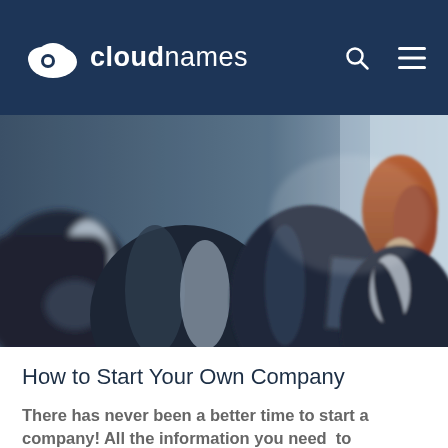cloudnames
[Figure (photo): Business people in formal attire sitting in a row, viewed from the side, one person writing on a notepad]
How to Start Your Own Company
There has never been a better time to start a company! All the information you need to